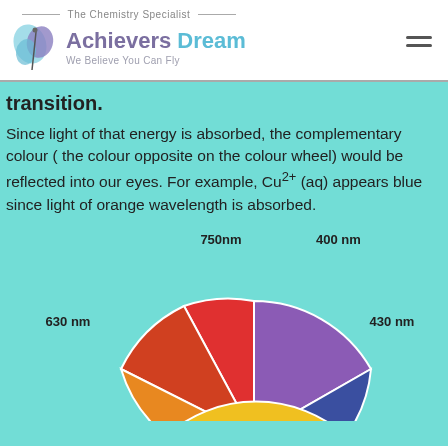[Figure (logo): Achievers Dream logo with butterfly/leaf icon, subtitle 'The Chemistry Specialist' and tagline 'We Believe You Can Fly']
transition.
Since light of that energy is absorbed, the complementary colour ( the colour opposite on the colour wheel) would be reflected into our eyes. For example, Cu²⁺ (aq) appears blue since light of orange wavelength is absorbed.
[Figure (pie-chart): Partial pie chart showing colour wheel segments labeled with wavelengths: 400 nm (violet/purple), 430 nm (blue), 630 nm (orange-red), 750 nm (red). Segments are coloured red, purple, blue, orange, yellow.]